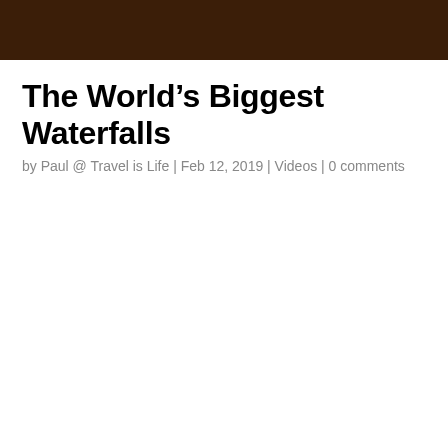The World’s Biggest Waterfalls
by Paul @ Travel is Life | Feb 12, 2019 | Videos | 0 comments